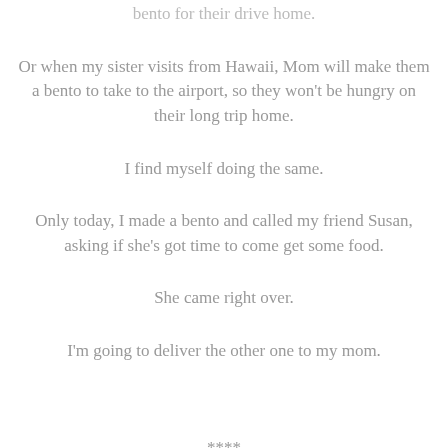bento for their drive home.
Or when my sister visits from Hawaii, Mom will make them a bento to take to the airport, so they won't be hungry on their long trip home.
I find myself doing the same.
Only today, I made a bento and called my friend Susan, asking if she's got time to come get some food.
She came right over.
I'm going to deliver the other one to my mom.
****